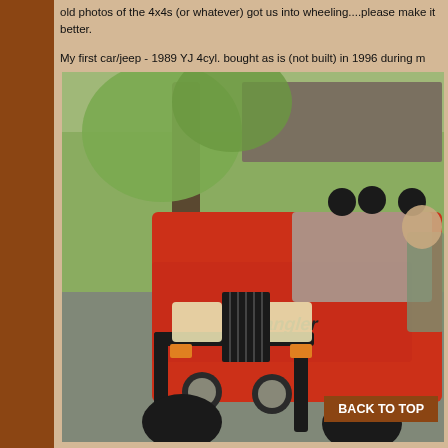old photos of the 4x4s (or whatever) got us into wheeling....please make it better.
My first car/jeep - 1989 YJ 4cyl. bought as is (not built) in 1996 during m
[Figure (photo): A red 1989 Jeep Wrangler YJ with a black front brush guard, roof-mounted lights, and 'Wrangler' text on the hood, parked in a suburban driveway with trees and a house in the background. A person is partially visible on the right side.]
BACK TO TOP